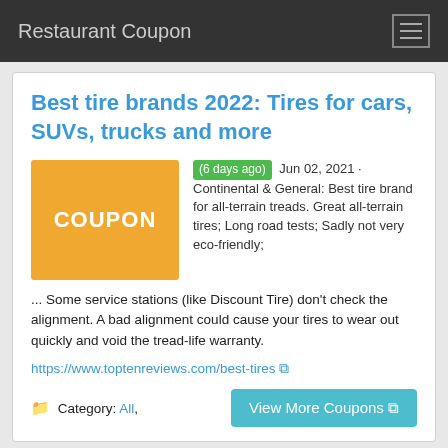Restaurant Coupon
Best tire brands 2022: Tires for cars, SUVs, trucks and more
(6 days ago) Jun 02, 2021 · Continental & General: Best tire brand for all-terrain treads. Great all-terrain tires; Long road tests; Sadly not very eco-friendly; ... Some service stations (like Discount Tire) don't check the alignment. A bad alignment could cause your tires to wear out quickly and void the tread-life warranty.
https://www.toptenreviews.com/best-tires
Category: All,
Jeep Accessories & Jeep Parts for the Wrangler, Cherokee & Liberty